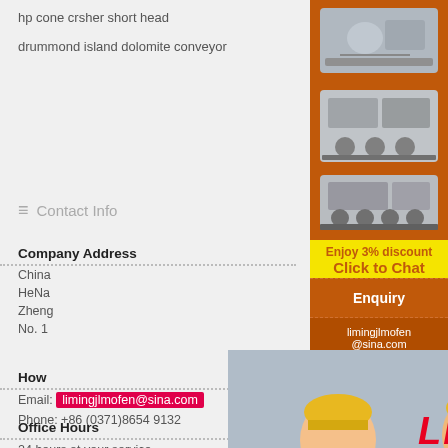hp cone crsher short head
drummond island dolomite conveyor
Contact Info
Company Address
China
HeNa
Zheng
No. 1
How
Email: limingjlmofen@sina.com
Phone: +86 (0371)8654 9132
Office Hours
24 hours at your service
[Figure (illustration): Live chat popup overlay with workers in hard hats, red LIVE CHAT text, Click for a Free Consultation subtitle, Chat now and Chat later buttons]
[Figure (illustration): Orange sidebar with mining/crushing equipment images, Enjoy 3% discount, Click to Chat, Enquiry, limingjlmofen@sina.com]